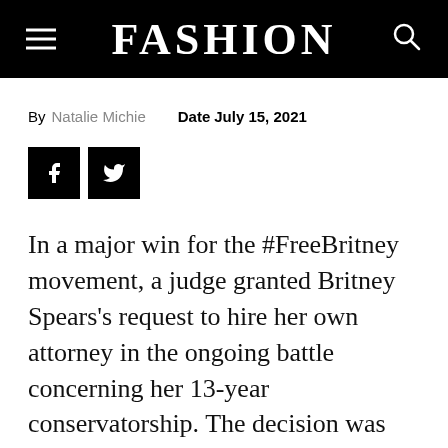FASHION
By Natalie Michie   Date July 15, 2021
[Figure (other): Social share buttons: Facebook and Twitter icons in black squares]
In a major win for the #FreeBritney movement, a judge granted Britney Spears's request to hire her own attorney in the ongoing battle concerning her 13-year conservatorship. The decision was made on July 14, in a Los Angeles hearing where Spears